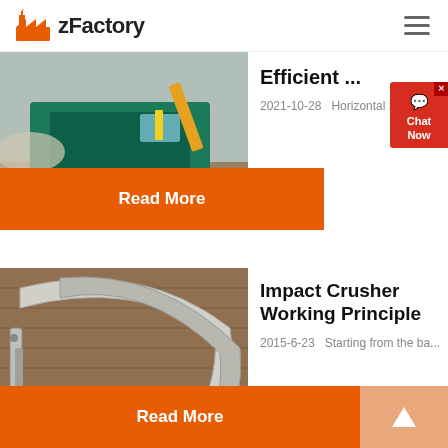zFactory
[Figure (photo): Industrial crusher/mining machine with green body working in a rocky area with dust and gravel]
Efficient ...
2021-10-28   Horizontal Shaf...
Read More
[Figure (photo): Close-up of impact crusher internals showing metal components, rotor, and blow bars]
Impact Crusher Working Principle
2015-6-23   Starting from the ba...
Read More